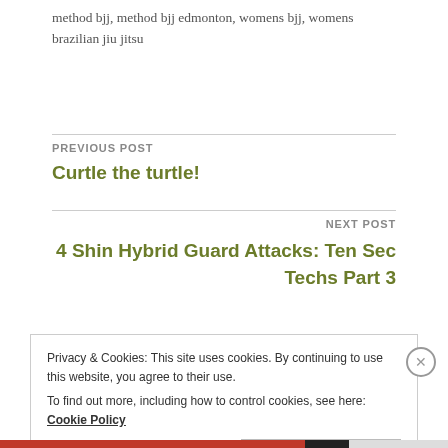method bjj, method bjj edmonton, womens bjj, womens brazilian jiu jitsu
PREVIOUS POST
Curtle the turtle!
NEXT POST
4 Shin Hybrid Guard Attacks: Ten Sec Techs Part 3
Privacy & Cookies: This site uses cookies. By continuing to use this website, you agree to their use.
To find out more, including how to control cookies, see here: Cookie Policy
Close and accept